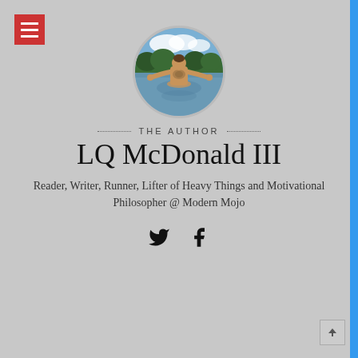[Figure (photo): Circular profile photo of a person standing in water with back turned, arms spread, visible tattoos, outdoors with trees and sky in background]
THE AUTHOR
LQ McDonald III
Reader, Writer, Runner, Lifter of Heavy Things and Motivational Philosopher @ Modern Mojo
[Figure (illustration): Social media icons: Twitter bird icon and Facebook 'f' icon]